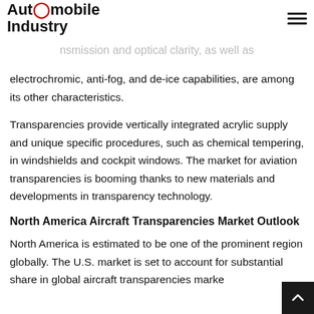Automobile Industry
urban air mobility platforms is projected to enhance : transparency.
nsmission and optical clarity, as well as electrochromic, anti-fog, and de-ice capabilities, are among its other characteristics.
Transparencies provide vertically integrated acrylic supply and unique specific procedures, such as chemical tempering, in windshields and cockpit windows. The market for aviation transparencies is booming thanks to new materials and developments in transparency technology.
North America Aircraft Transparencies Market Outlook
North America is estimated to be one of the prominent region globally. The U.S. market is set to account for substantial share in global aircraft transparencies marke